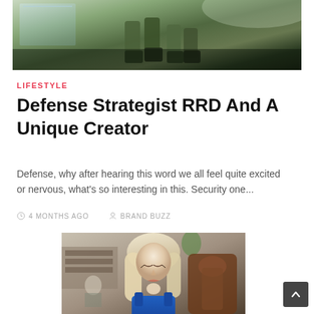[Figure (photo): Top image showing soldiers or military figures in green camouflage gear viewed from below, partial view of legs and boots]
LIFESTYLE
Defense Strategist RRD And A Unique Creator
Defense, why after hearing this word we all feel quite excited or nervous, what's so interesting in this. Security one...
4 MONTHS AGO   BRAND BUZZ
[Figure (photo): Portrait photo of a blonde woman sitting in an ornate wooden chair, wearing a blue top, looking downward, with a blurred background showing bookshelves and another person]